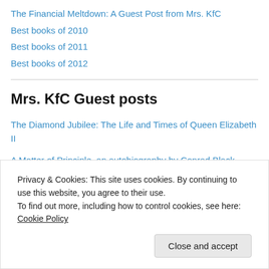The Financial Meltdown: A Guest Post from Mrs. KfC
Best books of 2010
Best books of 2011
Best books of 2012
Mrs. KfC Guest posts
The Diamond Jubilee: The Life and Times of Queen Elizabeth II
A Matter of Principle, an autobiography by Conrad Black
The Financial Meltdown
The ...
Privacy & Cookies: This site uses cookies. By continuing to use this website, you agree to their use. To find out more, including how to control cookies, see here: Cookie Policy